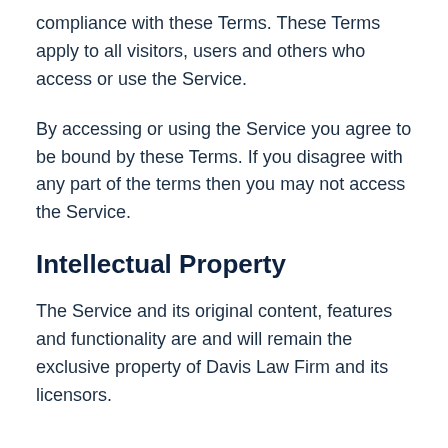compliance with these Terms. These Terms apply to all visitors, users and others who access or use the Service.
By accessing or using the Service you agree to be bound by these Terms. If you disagree with any part of the terms then you may not access the Service.
Intellectual Property
The Service and its original content, features and functionality are and will remain the exclusive property of Davis Law Firm and its licensors.